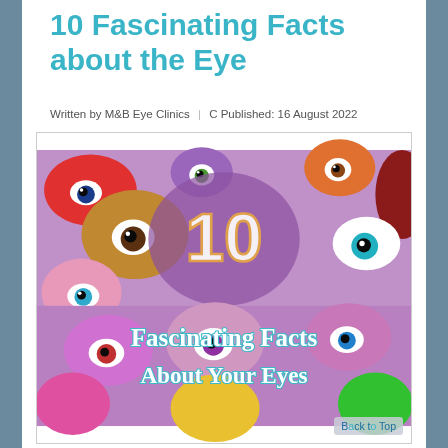10 Fascinating Facts about the Eye
Written by M&B Eye Clinics | C Published: 16 August 2022
[Figure (illustration): Colorful cartoon eyeballs illustration with text overlay reading '10 Fascinating Facts About Your Eyes' on a purple/pink background]
Back to Top